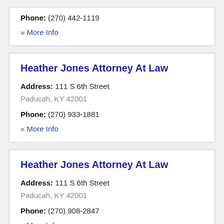Phone: (270) 442-1119
» More Info
Heather Jones Attorney At Law
Address: 111 S 6th Street
Paducah, KY 42001
Phone: (270) 933-1881
» More Info
Heather Jones Attorney At Law
Address: 111 S 6th Street
Paducah, KY 42001
Phone: (270) 908-2847
» More Info